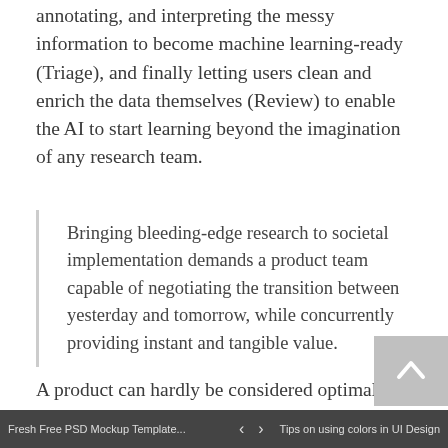annotating, and interpreting the messy information to become machine learning-ready (Triage), and finally letting users clean and enrich the data themselves (Review) to enable the AI to start learning beyond the imagination of any research team.
Bringing bleeding-edge research to societal implementation demands a product team capable of negotiating the transition between yesterday and tomorrow, while concurrently providing instant and tangible value.
A product can hardly be considered optimal if nobody cares to use it. And as with many other disruptive efforts, AI's intelligence must be questioned if it proves tone-deaf to the
Fresh Free PSD Mockup Template...   <   >   Tips on using colors in UI Design